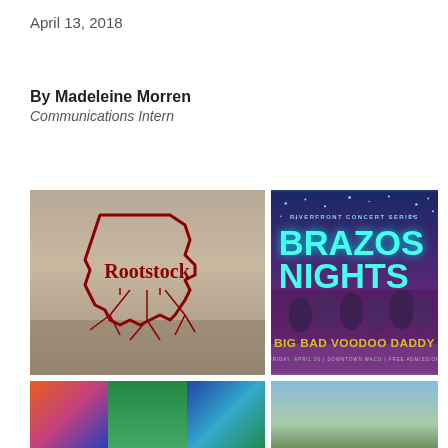April 13, 2018
By Madeleine Morren
Communications Intern
[Figure (photo): Rootstock logo: outline of Texas state with 'Rootstock' text and tree roots, on a landscape background]
[Figure (photo): Brazos Nights Riverfront Concert Series poster: Big Bad Voodoo Daddy, Friday April 20, Downtown Waco, Free Admission]
[Figure (photo): Three-panel collage of colorful Texas landscape/nature photos]
[Figure (photo): Photo of a building with a tower/dome and trees]